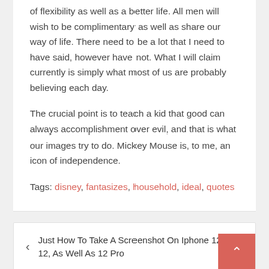of flexibility as well as a better life. All men will wish to be complimentary as well as share our way of life. There need to be a lot that I need to have said, however have not. What I will claim currently is simply what most of us are probably believing each day.
The crucial point is to teach a kid that good can always accomplishment over evil, and that is what our images try to do. Mickey Mouse is, to me, an icon of independence.
Tags: disney, fantasizes, household, ideal, quotes
Just How To Take A Screenshot On Iphone 12 Mini, 12, As Well As 12 Pro
Funny Tweets From 2021 With Over 500,000 Sort